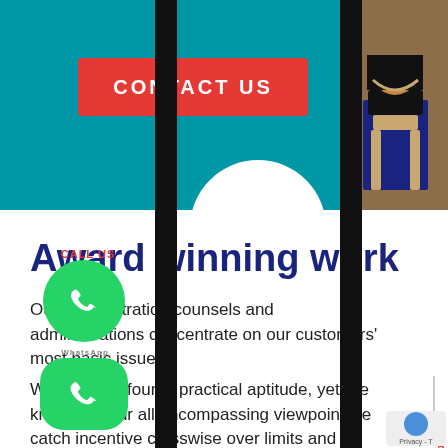[Figure (photo): Teal/cyan banner at top with a red 'CONTACT US' button, a worker wearing a tool belt visible on the right side, and a circular white decorative element at the bottom of the banner.]
Award winning work
Our administration counsels and administrations concentrate on our customers' most basic issue.
We bring profound, practical aptitude, yet are known for our all encompassing viewpoint we catch incentive crosswise over limits and between the storehouses of any association.